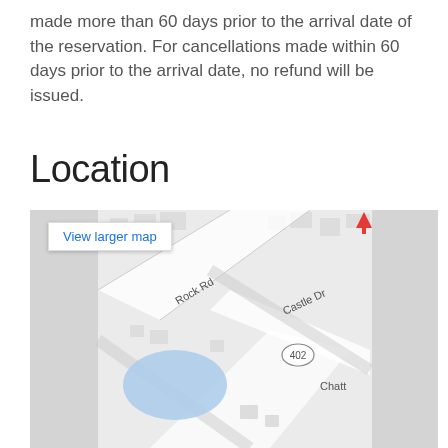made more than 60 days prior to the arrival date of the reservation. For cancellations made within 60 days prior to the arrival date, no refund will be issued.
Location
[Figure (map): Google Maps view showing Rock Rd, Castle Dr, route 402, and Chatt area with a blue water feature. A red location marker pin is visible in the upper right. A 'View larger map' button is shown in the upper left of the map.]